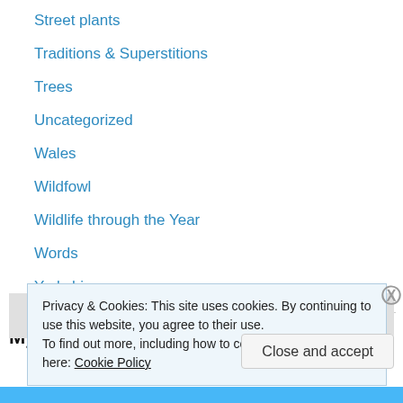Street plants
Traditions & Superstitions
Trees
Uncategorized
Wales
Wildfowl
Wildlife through the Year
Words
Yorkshire
My Flickr pictures
[Figure (photo): Partial view of a Flickr photo strip, partially obscured by cookie banner]
Privacy & Cookies: This site uses cookies. By continuing to use this website, you agree to their use.
To find out more, including how to control cookies, see here: Cookie Policy
Close and accept